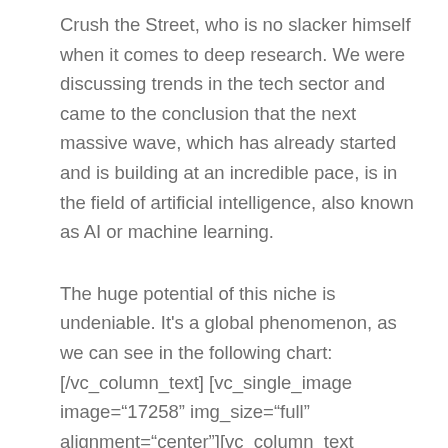Crush the Street, who is no slacker himself when it comes to deep research. We were discussing trends in the tech sector and came to the conclusion that the next massive wave, which has already started and is building at an incredible pace, is in the field of artificial intelligence, also known as AI or machine learning.
The huge potential of this niche is undeniable. It's a global phenomenon, as we can see in the following chart:[/vc_column_text] [vc_single_image image="17258" img_size="full" alignment="center"][vc_column_text css=".vc_custom_1529900663194{margin-top: 30px !important;margin-bottom: 30px !important;}"]